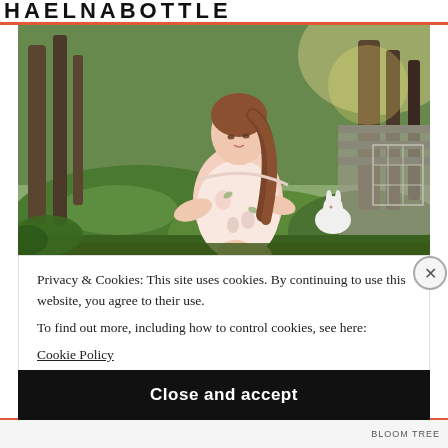HAELNABOTTLE
[Figure (photo): Digital avatar of a young woman with long brown hair wearing a floral off-shoulder dress, sitting on a mossy rock in a forest setting with a white rabbit nearby]
Privacy & Cookies: This site uses cookies. By continuing to use this website, you agree to their use.
To find out more, including how to control cookies, see here:
Cookie Policy
Close and accept
bloom tree